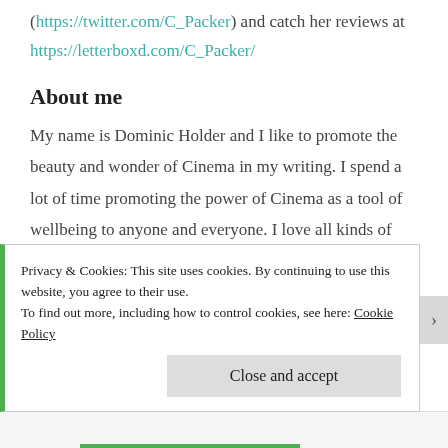(https://twitter.com/C_Packer) and catch her reviews at https://letterboxd.com/C_Packer/
About me
My name is Dominic Holder and I like to promote the beauty and wonder of Cinema in my writing. I spend a lot of time promoting the power of Cinema as a tool of wellbeing to anyone and everyone. I love all kinds of films but in particular, I am a devoted fan of Steven Spielberg, Tom Hanks, John Williams, Star Wars, Disney and Marvel. My love of Cinema stems from a trip as a 4-
Privacy & Cookies: This site uses cookies. By continuing to use this website, you agree to their use.
To find out more, including how to control cookies, see here: Cookie Policy
Close and accept